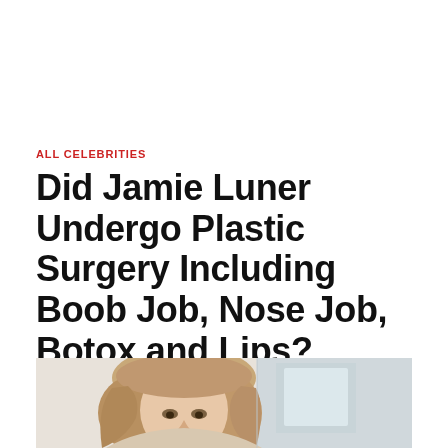ALL CELEBRITIES
Did Jamie Luner Undergo Plastic Surgery Including Boob Job, Nose Job, Botox and Lips?
[Figure (photo): Photo of Jamie Luner, a woman with long blonde-brown hair, visible from shoulders up, against a light background with a second panel to the right showing an indoor/outdoor setting]